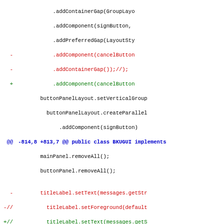Code diff showing changes to BKUGUI Java class with additions and deletions related to cancelButton, errorMsgLabel, and titleLabel components
[Figure (screenshot): Git diff / patch view of Java source code showing removed lines (red, prefixed with -) and added lines (green, prefixed with +), with diff hunk headers in blue. The code involves GroupLayout panel setup for signButton, cancelButton, errorMsgLabel, and titleLabel components.]